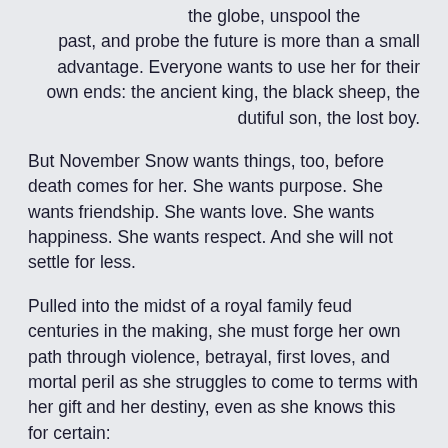the globe, unspool the past, and probe the future is more than a small advantage. Everyone wants to use her for their own ends: the ancient king, the black sheep, the dutiful son, the lost boy.
But November Snow wants things, too, before death comes for her. She wants purpose. She wants friendship. She wants love. She wants happiness. She wants respect. And she will not settle for less.
Pulled into the midst of a royal family feud centuries in the making, she must forge her own path through violence, betrayal, first loves, and mortal peril as she struggles to come to terms with her gift and her destiny, even as she knows this for certain:
She dies at the end.